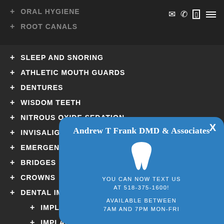ORAL HYGIENE
ROOT CANALS
SLEEP AND SNORING
ATHLETIC MOUTH GUARDS
DENTURES
WISDOM TEETH
NITROUS OXIDE SEDATION
INVISALIGN
EMERGENCIES
BRIDGES
CROWNS
DENTAL IMPLANTS
IMPLANT (sub-item 1)
IMPLANT (sub-item 2)
VENEERS
WHITE FILLINGS
[Figure (infographic): Popup card for Andrew T Frank DMD & Associates dental practice with tooth icon, text messaging info at 518-375-1600, available 7AM-7PM Mon-Fri]